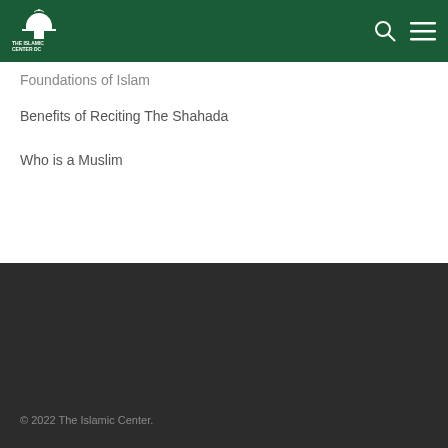THE ISLAMIC CENTER DC
Foundations of Islam
Benefits of Reciting The Shahada
Who is a Muslim
© 2022 The Islamic Center.